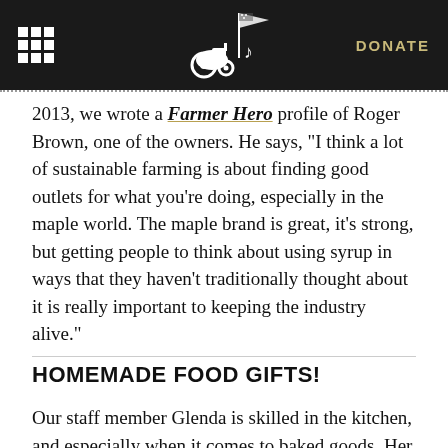DONATE
2013, we wrote a Farmer Hero profile of Roger Brown, one of the owners. He says, “I think a lot of sustainable farming is about finding good outlets for what you’re doing, especially in the maple world. The maple brand is great, it’s strong, but getting people to think about using syrup in ways that they haven’t traditionally thought about it is really important to keeping the industry alive.”
HOMEMADE FOOD GIFTS!
Our staff member Glenda is skilled in the kitchen, and especially when it comes to baked goods. Her